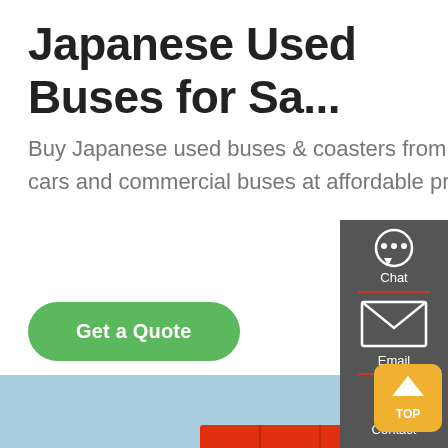Japanese Used Buses for Sa...
Buy Japanese used buses & coasters from Car Junction exporter of Japanese used cars and commercial buses at affordable price. We have a huge stock of secondhan...
Get a Quote
[Figure (photo): Red dump truck parked outdoors against a light blue sky]
[Figure (infographic): Sidebar with Chat, Email, and Contact icons on dark gray background, and a TOP button in orange/yellow]